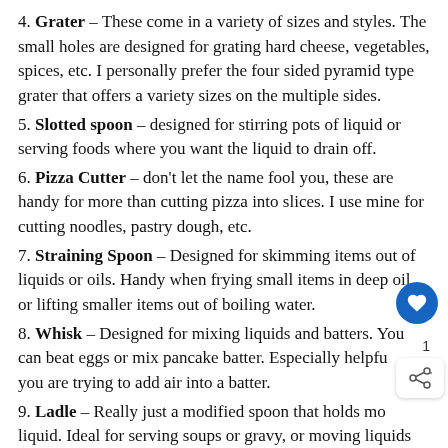4. Grater – These come in a variety of sizes and styles. The small holes are designed for grating hard cheese, vegetables, spices, etc. I personally prefer the four sided pyramid type grater that offers a variety sizes on the multiple sides.
5. Slotted spoon – designed for stirring pots of liquid or serving foods where you want the liquid to drain off.
6. Pizza Cutter – don't let the name fool you, these are handy for more than cutting pizza into slices. I use mine for cutting noodles, pastry dough, etc.
7. Straining Spoon – Designed for skimming items out of liquids or oils. Handy when frying small items in deep oil, or lifting smaller items out of boiling water.
8. Whisk – Designed for mixing liquids and batters. You can beat eggs or mix pancake batter. Especially helpful when you are trying to add air into a batter.
9. Ladle – Really just a modified spoon that holds more liquid. Ideal for serving soups or gravy, or moving liquids quickly into or out of a pot.